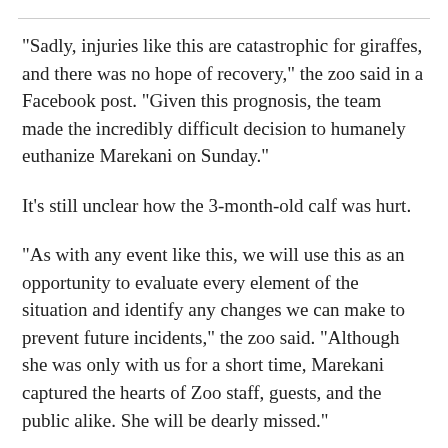"Sadly, injuries like this are catastrophic for giraffes, and there was no hope of recovery," the zoo said in a Facebook post. "Given this prognosis, the team made the incredibly difficult decision to humanely euthanize Marekani on Sunday."
It’s still unclear how the 3-month-old calf was hurt.
"As with any event like this, we will use this as an opportunity to evaluate every element of the situation and identify any changes we can make to prevent future incidents," the zoo said. "Although she was only with us for a short time, Marekani captured the hearts of Zoo staff, guests, and the public alike. She will be dearly missed."